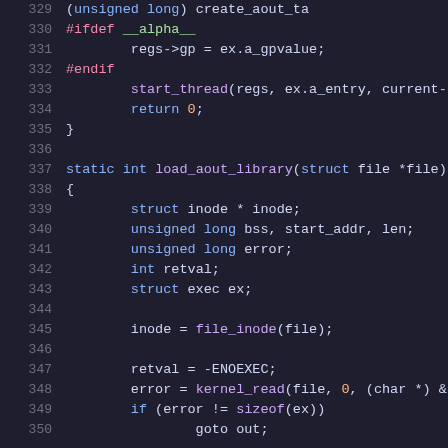[Figure (screenshot): Source code listing in a dark-themed code editor, lines 329-350, showing C code for load_aout_library function with syntax highlighting (blue keywords, red preprocessor directives, purple function names, orange numbers)]